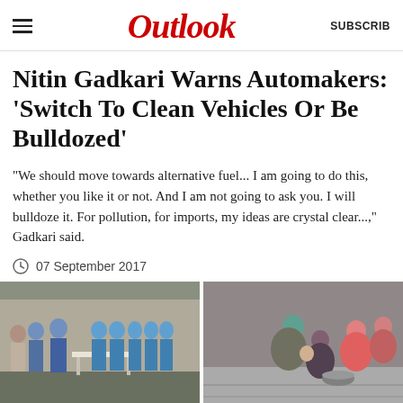Outlook | SUBSCRIBE
Nitin Gadkari Warns Automakers: 'Switch To Clean Vehicles Or Be Bulldozed'
"We should move towards alternative fuel... I am going to do this, whether you like it or not. And I am not going to ask you. I will bulldoze it. For pollution, for imports, my ideas are crystal clear...," Gadkari said.
07 September 2017
[Figure (photo): Group of people in blue uniforms at a table outdoors]
[Figure (photo): Group of women and children sitting on the ground outdoors]
[Figure (photo): People gathered in a dimly lit indoor space at night]
[Figure (photo): Building exterior at night with people standing outside]